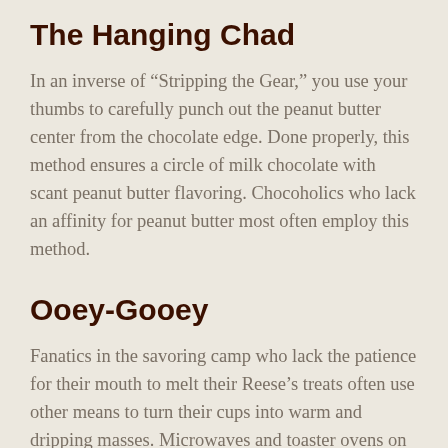The Hanging Chad
In an inverse of “Stripping the Gear,” you use your thumbs to carefully punch out the peanut butter center from the chocolate edge. Done properly, this method ensures a circle of milk chocolate with scant peanut butter flavoring. Chocoholics who lack an affinity for peanut butter most often employ this method.
Ooey-Gooey
Fanatics in the savoring camp who lack the patience for their mouth to melt their Reese’s treats often use other means to turn their cups into warm and dripping masses. Microwaves and toaster ovens on low settings should achieve the appropriate level of melt, but Reese’s lovers with an air for flare have been known to use hot coals of a campfire to get the